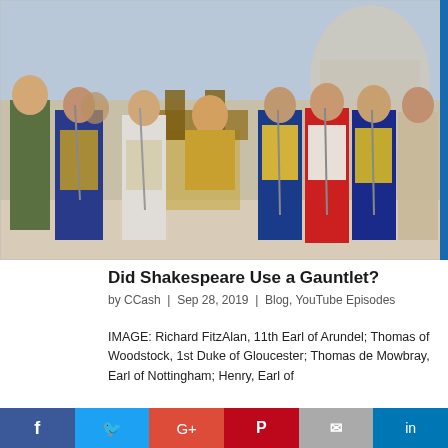[Figure (illustration): Historical illustration of medieval knights in armor and courtiers gathered around a seated king on a throne. The figures wear heraldic tabards and armor. This depicts Richard FitzAlan and other English nobles.]
Did Shakespeare Use a Gauntlet?
by CCash | Sep 28, 2019 | Blog, YouTube Episodes
IMAGE: Richard FitzAlan, 11th Earl of Arundel; Thomas of Woodstock, 1st Duke of Gloucester; Thomas de Mowbray, Earl of Nottingham; Henry, Earl of
Social share bar: Facebook, Twitter, Google+, Pinterest, Email, LinkedIn